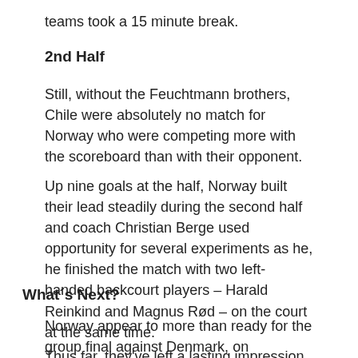teams took a 15 minute break.
2nd Half
Still, without the Feuchtmann brothers, Chile were absolutely no match for Norway who were competing more with the scoreboard than with their opponent.
Up nine goals at the half, Norway built their lead steadily during the second half and coach Christian Berge used opportunity for several experiments as he, he finished the match with two left-handed backcourt players – Harald Reinkind and Magnus Rød – on the court at the same time.
What´s Next?
Norway appear to more than ready for the group final against Denmark, on Thursday.
Thus far, they've left a lasting impression in all four